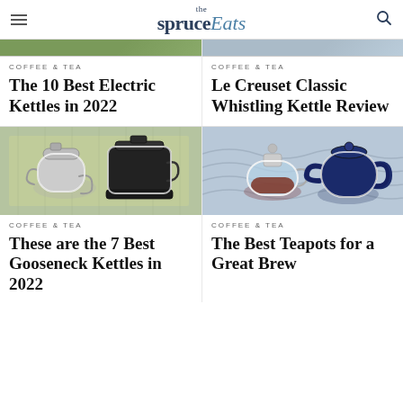the spruce Eats
COFFEE & TEA
The 10 Best Electric Kettles in 2022
COFFEE & TEA
Le Creuset Classic Whistling Kettle Review
[Figure (photo): Two kettles on green background — a silver gooseneck kettle and a black electric kettle]
[Figure (photo): Two teapots on blue background — a glass teapot with tea and a navy blue ceramic teapot]
COFFEE & TEA
These are the 7 Best Gooseneck Kettles in 2022
COFFEE & TEA
The Best Teapots for a Great Brew